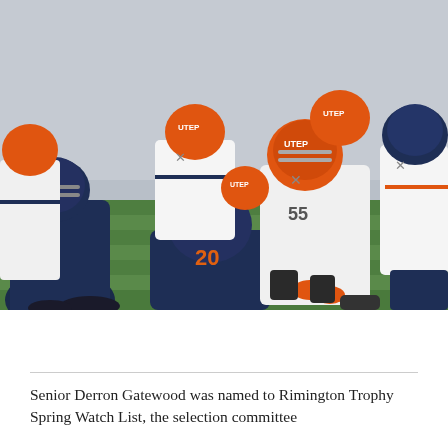[Figure (photo): Football game action photo showing UTEP players in white and orange uniforms lined up at the line of scrimmage against opponents in navy blue uniforms. Multiple players wearing orange helmets with UTEP branding are visible. The scene is taken at a stadium on an artificial turf field.]
Senior Derron Gatewood was named to Rimington Trophy Spring Watch List, the selection committee